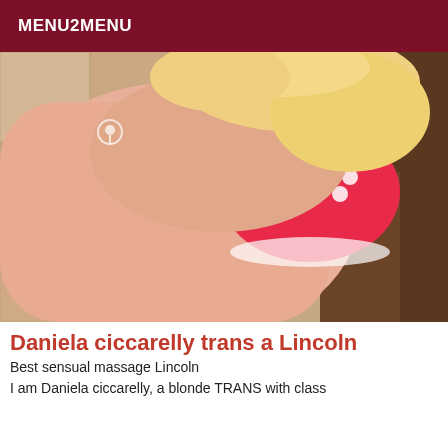MENU2MENU
[Figure (photo): A blonde person in a pink polka dot bikini top, photographed from above on a tiled floor and couch background, taking a selfie-style photo.]
Daniela ciccarelly trans a Lincoln
Best sensual massage Lincoln
I am Daniela ciccarelly, a blonde TRANS with class